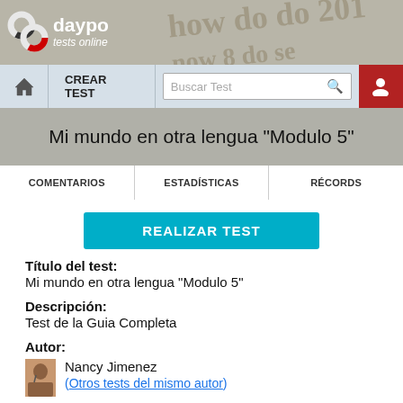daypo tests online
Mi mundo en otra lengua "Modulo 5"
COMENTARIOS | ESTADÍSTICAS | RÉCORDS
REALIZAR TEST
Título del test:
Mi mundo en otra lengua "Modulo 5"
Descripción:
Test de la Guia Completa
Autor:
Nancy Jimenez
(Otros tests del mismo autor)
Fecha de Creación: